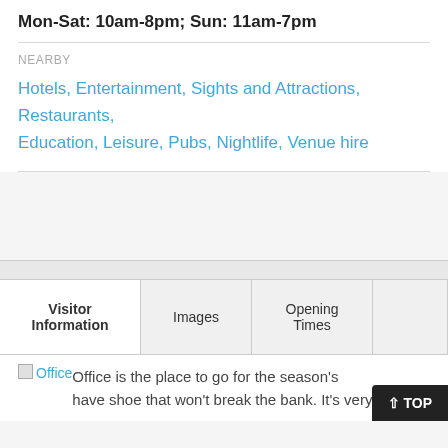Mon-Sat: 10am-8pm; Sun: 11am-7pm
NEARBY
Hotels, Entertainment, Sights and Attractions, Restaurants, Education, Leisure, Pubs, Nightlife, Venue hire
| Visitor Information | Images | Opening Times |  |
| --- | --- | --- | --- |
[Figure (other): Office logo placeholder image]
Office is the place to go for the season's have shoe that won't break the bank. It's very